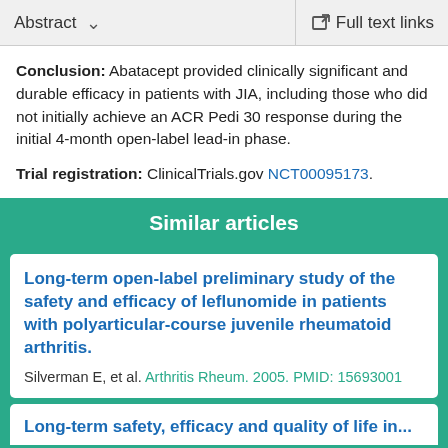Abstract    Full text links
Conclusion: Abatacept provided clinically significant and durable efficacy in patients with JIA, including those who did not initially achieve an ACR Pedi 30 response during the initial 4-month open-label lead-in phase.
Trial registration: ClinicalTrials.gov NCT00095173.
Similar articles
Long-term open-label preliminary study of the safety and efficacy of leflunomide in patients with polyarticular-course juvenile rheumatoid arthritis.
Silverman E, et al. Arthritis Rheum. 2005. PMID: 15693001
Long-term safety, efficacy and quality of life in...